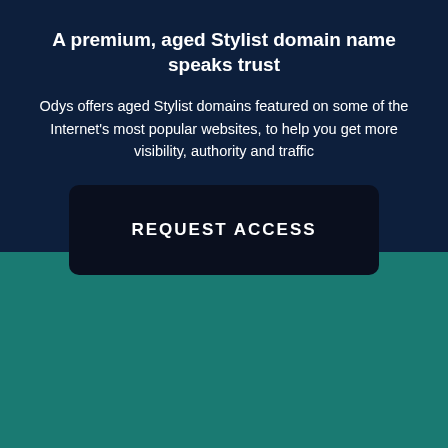A premium, aged Stylist domain name speaks trust
Odys offers aged Stylist domains featured on some of the Internet's most popular websites, to help you get more visibility, authority and traffic
REQUEST ACCESS